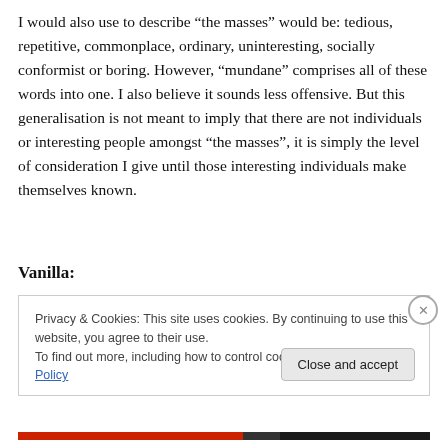I would also use to describe “the masses” would be: tedious, repetitive, commonplace, ordinary, uninteresting, socially conformist or boring. However, “mundane” comprises all of these words into one. I also believe it sounds less offensive. But this generalisation is not meant to imply that there are not individuals or interesting people amongst “the masses”, it is simply the level of consideration I give until those interesting individuals make themselves known.
Vanilla:
[Figure (screenshot): Cookie consent banner with text about privacy & cookies policy, a link to Cookie Policy, and a Close and accept button.]